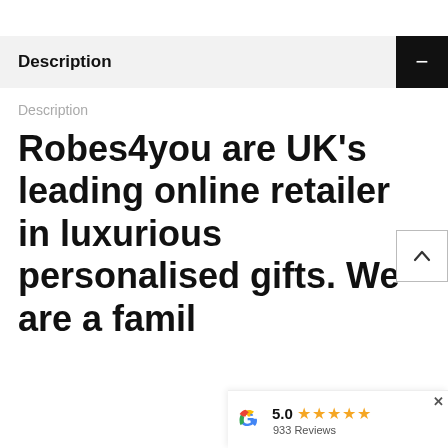Description
Description
Robes4you are UK's leading online retailer in luxurious personalised gifts. We are a family...